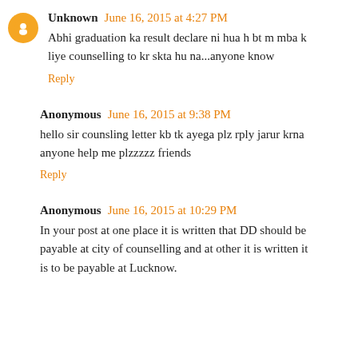Unknown June 16, 2015 at 4:27 PM
Abhi graduation ka result declare ni hua h bt m mba k liye counselling to kr skta hu na...anyone know
Reply
Anonymous June 16, 2015 at 9:38 PM
hello sir counsling letter kb tk ayega plz rply jarur krna anyone help me plzzzzz friends
Reply
Anonymous June 16, 2015 at 10:29 PM
In your post at one place it is written that DD should be payable at city of counselling and at other it is written it is to be payable at Lucknow.